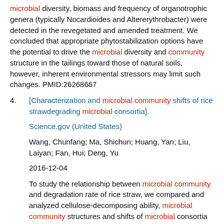microbial diversity, biomass and frequency of organotrophic genera (typically Nocardioides and Altererythrobacter) were detected in the revegetated and amended treatment. We concluded that appropriate phytostabilization options have the potential to drive the microbial diversity and community structure in the tailings toward those of natural soils, however, inherent environmental stressors may limit such changes. PMID:26268667
4. [Characterization and microbial community shifts of rice strawdegrading microbial consortia]. Science.gov (United States) Wang, Chunfang; Ma, Shichun; Huang, Yan; Liu, Laiyan; Fan, Hui; Deng, Yu 2016-12-04 To study the relationship between microbial community and degradation rate of rice straw, we compared and analyzed cellulose-decomposing ability, microbial community structures and shifts of microbial consortia F1 and F2. We determined exoglucanase activity by 3, 5-dinitrosalicylic acid colorimetry.